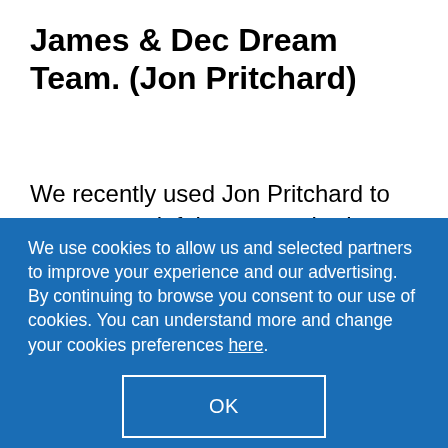James & Dec Dream Team. (Jon Pritchard)
We recently used Jon Pritchard to convert our loft into a new bedroom with En-Suite. James & Dec turned up on time everyday and worked very hard during these challenging times to produce an excellent result. Nothing was too much trouble and they came back with no fuss
We use cookies to allow us and selected partners to improve your experience and our advertising. By continuing to browse you consent to our use of cookies. You can understand more and change your cookies preferences here.
OK